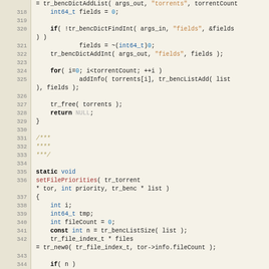[Figure (screenshot): Source code screenshot showing C code lines 318-345 with syntax highlighting. Functions include torrent list population and setFilePriorities function definition.]